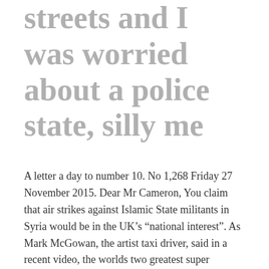streets and I was worried about a police state, silly me
A letter a day to number 10. No 1,268 Friday 27 November 2015. Dear Mr Cameron, You claim that air strikes against Islamic State militants in Syria would be in the UK’s “national interest”. As Mark McGowan, the artist taxi driver, said in a recent video, the worlds two greatest super powers, the USA and […]